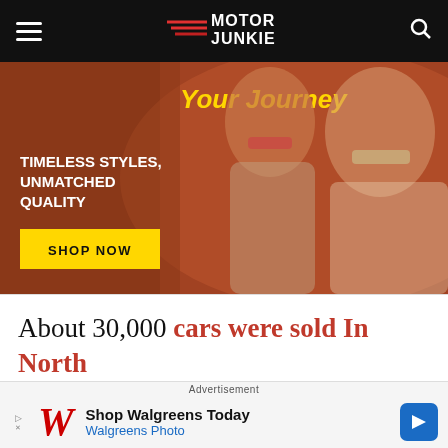Motor Junkie
[Figure (photo): Advertisement banner showing two women wearing stylish sunglasses against an orange/brown background. Text reads 'Your Journey', 'TIMELESS STYLES, UNMATCHED QUALITY', and a yellow 'SHOP NOW' button.]
About 30,000 cars were sold in North America under the Bavaria name. This
Advertisement
[Figure (photo): Walgreens advertisement banner showing the Walgreens W logo and text 'Shop Walgreens Today / Walgreens Photo' with a blue directional arrow icon.]